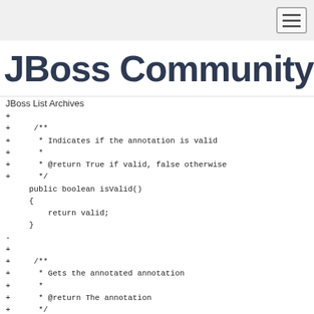[Figure (logo): JBoss Community logo with hamburger menu button in top right]
JBoss List Archives
+
+     /**
+      * Indicates if the annotation is valid
+      *
+      * @return True if valid, false otherwise
+      */
     public boolean isValid()
     {
         return valid;
     }
-
+
+     /**
+      * Gets the annotated annotation
+      *
+      * @return The annotation
+      */